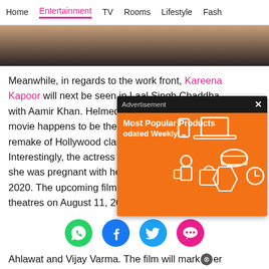Home | Entertainment | TV | Rooms | Lifestyle | Fash
[Figure (photo): Close-up photo strip showing skin/hand against dark background]
Meanwhile, in regards to the work front, Kareena Kapoor will next be seen in Laal Singh Chaddha with Aamir Khan. Helmed b... movie happens to be the d... remake of Hollywood class... Interestingly, the actress sh... she was pregnant with her... 2020. The upcoming film is slated to hit the theatres on August 11, 2022. Besides this, she is
[Figure (screenshot): Advertisement overlay popup with orange background reading 'Most Popular Products odated Weekly!' with product icons]
[Figure (infographic): Social share icons row: WhatsApp (green), Facebook (blue), Twitter (blue), More/chat (pink)]
Ahlawat and Vijay Varma. The film will mark her digital debut on Netflix.